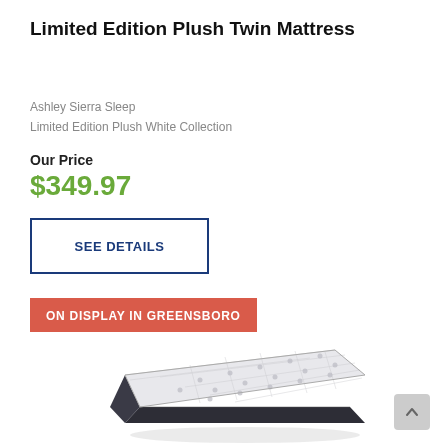Limited Edition Plush Twin Mattress
Ashley Sierra Sleep
Limited Edition Plush White Collection
Our Price
$349.97
SEE DETAILS
ON DISPLAY IN GREENSBORO
[Figure (photo): Photo of a twin mattress with a white quilted top surface and dark charcoal grey sides, shown at an angle]